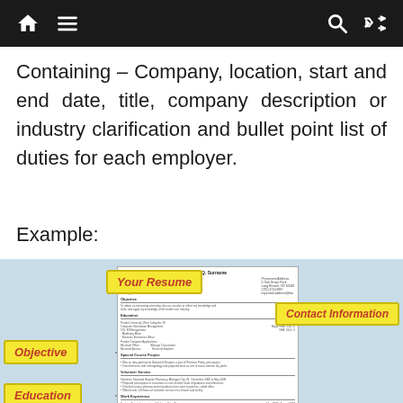Navigation bar with home, menu, search, and shuffle icons
Containing – Company, location, start and end date, title, company description or industry clarification and bullet point list of duties for each employer.
Example:
[Figure (infographic): A resume example with labeled callout boxes: 'Your Resume' at top, 'Contact Information' on the right, 'Objective', 'Education', and 'Experience' on the left/right sides, pointing to sections of a sample resume document for Chris Q. Surname.]